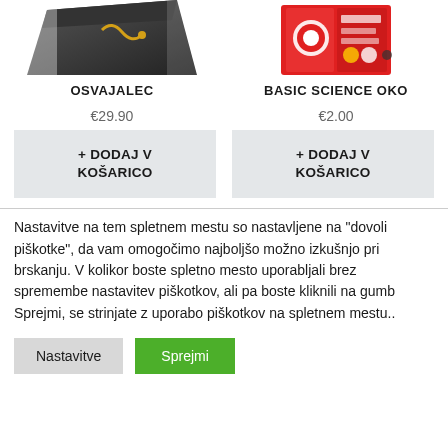[Figure (photo): Partial product image on the left - dark colored item with gold detail]
[Figure (photo): Partial product image on the right - red packaged science/game kit]
OSVAJALEC
BASIC SCIENCE OKO
€29.90
€2.00
+ DODAJ V KOŠARICO
+ DODAJ V KOŠARICO
Nastavitve na tem spletnem mestu so nastavljene na "dovoli piškotke", da vam omogočimo najboljšo možno izkušnjo pri brskanju. V kolikor boste spletno mesto uporabljali brez spremembe nastavitev piškotkov, ali pa boste kliknili na gumb Sprejmi, se strinjate z uporabo piškotkov na spletnem mestu..
Nastavitve
Sprejmi